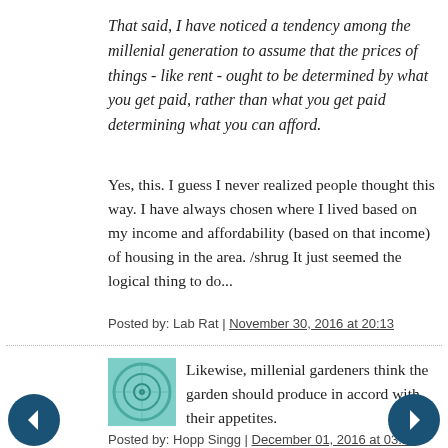That said, I have noticed a tendency among the millenial generation to assume that the prices of things - like rent - ought to be determined by what you get paid, rather than what you get paid determining what you can afford.
Yes, this. I guess I never realized people thought this way. I have always chosen where I lived based on my income and affordability (based on that income) of housing in the area. /shrug It just seemed the logical thing to do...
Posted by: Lab Rat | November 30, 2016 at 20:13
[Figure (illustration): Green decorative circular avatar icon]
Likewise, millenial gardeners think the garden should produce in accord with their appetites.
Posted by: Hopp Singg | December 01, 2016 at 03:24
[Figure (illustration): Green decorative circular avatar icon — partially visible at bottom]
This just in: